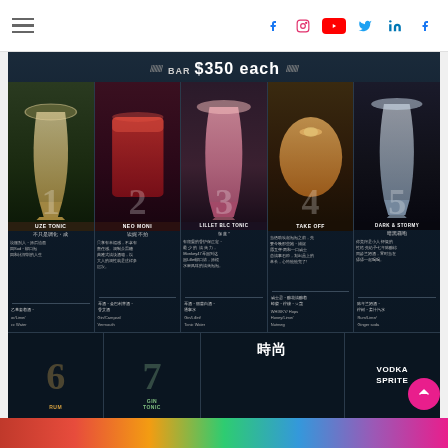Navigation bar with hamburger menu and social icons (Facebook, Instagram, YouTube, Twitter, LinkedIn, Facebook)
[Figure (photo): A cocktail bar menu board showing 5 cocktails numbered 1-5, priced at $350 each. Each cocktail has a photo, number, name in English and Chinese, description in Chinese, and ingredients in Chinese and English. The cocktails are: 1-SUZE TONIC, 2-NEGRONI (Gin/Campari/Vermouth), 3-LILLET BLANC TONIC (Gin/Lillet/Tonic Water), 4-TAKE OFF (WHISKY/Hops/Honey/Lime/Nutmeg), 5-DARK & STORMY (Rum/Lime/Ginger soda). Bottom row shows more cocktails: RUM, GIN TONIC, 時尚 (fashion), VODKA SPRITE.]
Colorful striped footer bar